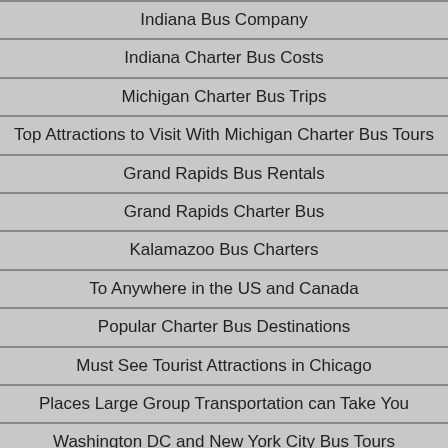Indiana Bus Company
Indiana Charter Bus Costs
Michigan Charter Bus Trips
Top Attractions to Visit With Michigan Charter Bus Tours
Grand Rapids Bus Rentals
Grand Rapids Charter Bus
Kalamazoo Bus Charters
To Anywhere in the US and Canada
Popular Charter Bus Destinations
Must See Tourist Attractions in Chicago
Places Large Group Transportation can Take You
Washington DC and New York City Bus Tours
Chicago Charter Bus
Travel Links
Employment